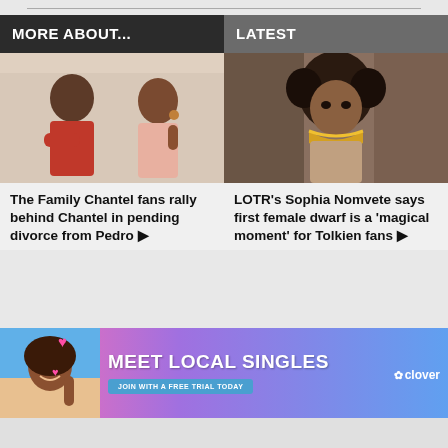MORE ABOUT...
LATEST
[Figure (photo): Two people facing each other in conversation, one in a red top]
The Family Chantel fans rally behind Chantel in pending divorce from Pedro ▶
[Figure (photo): Woman with elaborate hairstyle and gold jewelry, in period costume]
LOTR's Sophia Nomvete says first female dwarf is a 'magical moment' for Tolkien fans ▶
[Figure (infographic): Advertisement banner: MEET LOCAL SINGLES - JOIN WITH A FREE TRIAL TODAY - clover dating app]